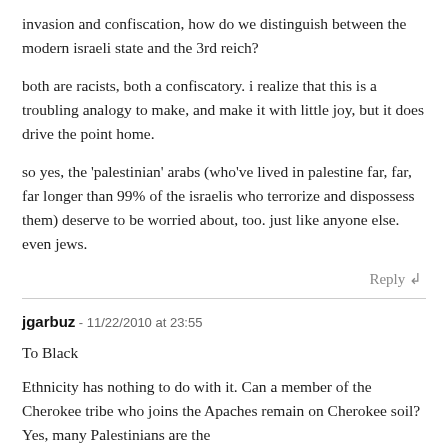invasion and confiscation, how do we distinguish between the modern israeli state and the 3rd reich?
both are racists, both a confiscatory. i realize that this is a troubling analogy to make, and make it with little joy, but it does drive the point home.
so yes, the 'palestinian' arabs (who've lived in palestine far, far, far longer than 99% of the israelis who terrorize and dispossess them) deserve to be worried about, too. just like anyone else. even jews.
Reply ↲
jgarbuz - 11/22/2010 at 23:55
To Black
Ethnicity has nothing to do with it. Can a member of the Cherokee tribe who joins the Apaches remain on Cherokee soil? Yes, many Palestinians are the